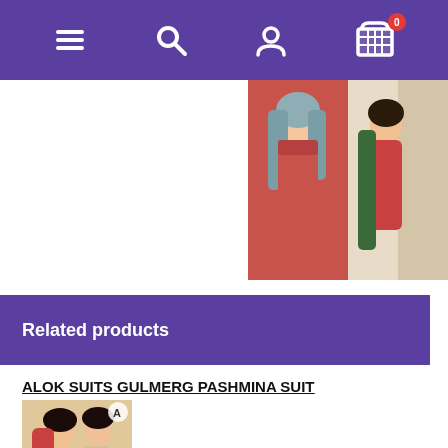Navigation bar with menu, search, account, and cart (0 items) icons
[Figure (photo): Two product thumbnail photos of women in traditional suits in the top-right area]
Related products
ALOK SUITS GULMERG PASHMINA SUIT
[Figure (photo): Product catalog cover image for Alok Suits Gulmerg Pashmina collection showing two women in traditional embroidered suits]